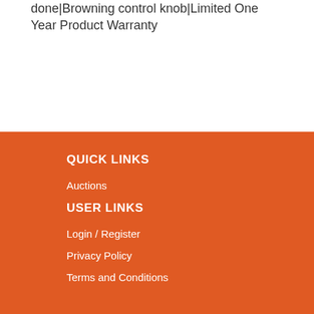done|Browning control knob|Limited One Year Product Warranty
QUICK LINKS
Auctions
USER LINKS
Login / Register
Privacy Policy
Terms and Conditions